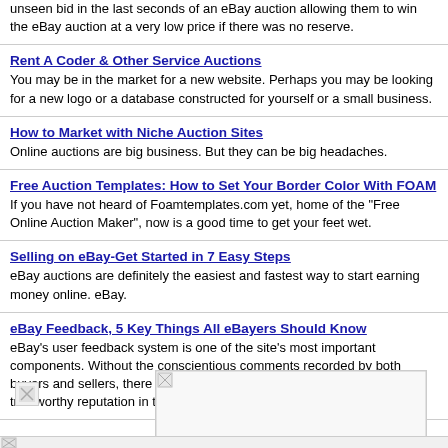unseen bid in the last seconds of an eBay auction allowing them to win the eBay auction at a very low price if there was no reserve.
Rent A Coder & Other Service Auctions
You may be in the market for a new website. Perhaps you may be looking for a new logo or a database constructed for yourself or a small business.
How to Market with Niche Auction Sites
Online auctions are big business. But they can be big headaches.
Free Auction Templates: How to Set Your Border Color With FOAM
If you have not heard of Foamtemplates.com yet, home of the "Free Online Auction Maker", now is a good time to get your feet wet.
Selling on eBay-Get Started in 7 Easy Steps
eBay auctions are definitely the easiest and fastest way to start earning money online. eBay.
eBay Feedback, 5 Key Things All eBayers Should Know
eBay's user feedback system is one of the site's most important components. Without the conscientious comments recorded by both buyers and sellers, there would be no way for anyone to build up a trustworthy reputation in the nearly anonymous realm of cyberspace.
[Figure (other): Small broken image icon placeholder, top left]
[Figure (other): Large broken image placeholder, center right]
[Figure (other): Small broken image icon placeholder, bottom left]